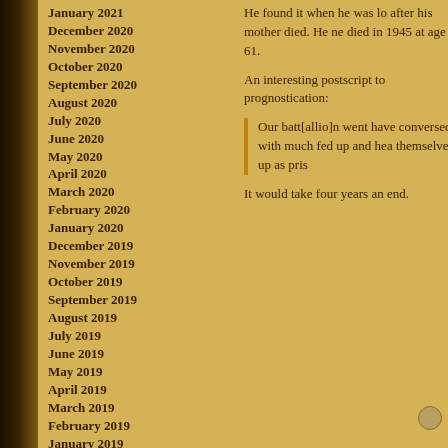January 2021
December 2020
November 2020
October 2020
September 2020
August 2020
July 2020
June 2020
May 2020
April 2020
March 2020
February 2020
January 2020
December 2019
November 2019
October 2019
September 2019
August 2019
July 2019
June 2019
May 2019
April 2019
March 2019
February 2019
January 2019
December 2018
November 2018
October 2018
September 2018
August 2018
July 2018
June 2018
He found it when he was lo after his mother died. He ne died in 1945 at age 61.
An interesting postscript to prognostication:
Our batt[allio]n went have conversed with much fed up and hea themselves up as pris
It would take four years an end.